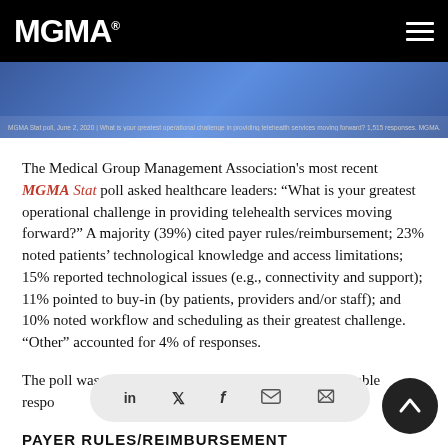MGMA
[Figure (screenshot): Blue banner image from MGMA Stat poll dated June 2, 2020, asking about greatest operational challenge in providing telehealth services moving forward. 1,515 responses. MGMA.COM/STAT #MGMASTAT]
The Medical Group Management Association's most recent MGMA Stat poll asked healthcare leaders: “What is your greatest operational challenge in providing telehealth services moving forward?” A majority (39%) cited payer rules/reimbursement; 23% noted patients’ technological knowledge and access limitations; 15% reported technological issues (e.g., connectivity and support); 11% pointed to buy-in (by patients, providers and/or staff); and 10% noted workflow and scheduling as their greatest challenge. “Other” accounted for 4% of responses.
The poll was co[nducted with] applicable respo[ndents...]
PAYER RULES/REIMBURSEMENT